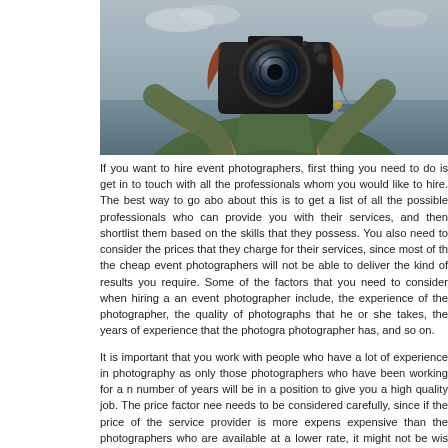[Figure (photo): A woman holding a DSLR camera up to her face, wearing a green jacket, with a blurred waterfront background.]
If you want to hire event photographers, first thing you need to do is get in touch with all the professionals whom you would like to hire. The best way to go about this is to get a list of all the possible professionals who can provide you with their services, and then shortlist them based on the skills that they possess. You also need to consider the prices that they charge for their services, since most of the cheap event photographers will not be able to deliver the kind of results you require. Some of the factors that you need to consider when hiring an event photographer include, the experience of the photographer, the quality of photographs that he or she takes, the years of experience that the photographer has, and so on.
It is important that you work with people who have a lot of experience in photography as only those photographers who have been working for a number of years will be in a position to give you a high quality job. The price factor needs to be considered carefully, since if the price of the service provider is more expensive than the photographers who are available at a lower rate, it might not be wise to hire them. Another factor that should be kept in mind while looking for an event photographer is to look for those photographers who are associated with other professionals and they have a good portfolio that you can check out.